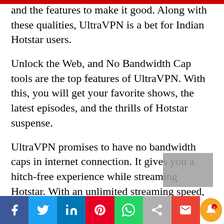and the features to make it good. Along with these qualities, UltraVPN is a bet for Indian Hotstar users.
Unlock the Web, and No Bandwidth Cap tools are the top features of UltraVPN. With this, you will get your favorite shows, the latest episodes, and the thrills of Hotstar suspense.
UltraVPN promises to have no bandwidth caps in internet connection. It gives you a hitch-free experience while streaming Hotstar. With an unlimited streaming speed, you will not face any buffering, time-outs, and connection breaks.
[Figure (other): Social media sharing bar with Facebook, Twitter, LinkedIn, Pinterest, WhatsApp, Share, Gmail icons and a notification bell button]